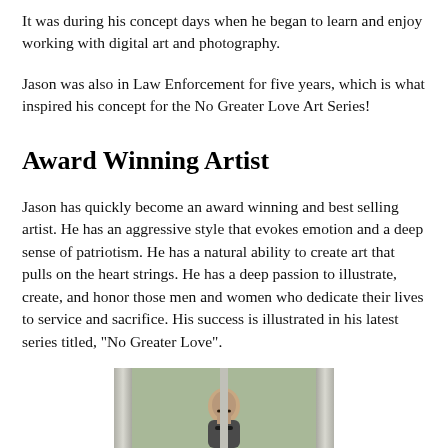It was during his concept days when he began to learn and enjoy working with digital art and photography.
Jason was also in Law Enforcement for five years, which is what inspired his concept for the No Greater Love Art Series!
Award Winning Artist
Jason has quickly become an award winning and best selling artist. He has an aggressive style that evokes emotion and a deep sense of patriotism. He has a natural ability to create art that pulls on the heart strings. He has a deep passion to illustrate, create, and honor those men and women who dedicate their lives to service and sacrifice. His success is illustrated in his latest series titled, "No Greater Love".
[Figure (photo): Photo of a man partially visible at the bottom of the page, framed between what appear to be display frames or panels, with greenery visible in the background.]